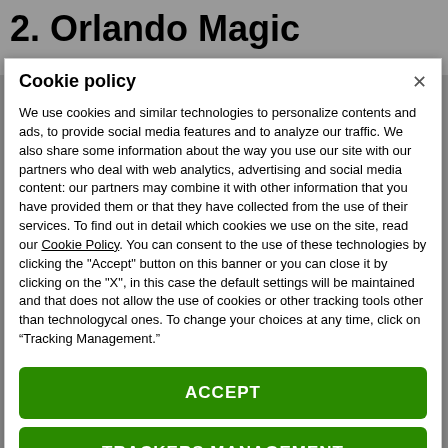2. Orlando Magic
Cookie policy
We use cookies and similar technologies to personalize contents and ads, to provide social media features and to analyze our traffic. We also share some information about the way you use our site with our partners who deal with web analytics, advertising and social media content: our partners may combine it with other information that you have provided them or that they have collected from the use of their services. To find out in detail which cookies we use on the site, read our Cookie Policy. You can consent to the use of these technologies by clicking the "Accept" button on this banner or you can close it by clicking on the "X", in this case the default settings will be maintained and that does not allow the use of cookies or other tracking tools other than technologycal ones. To change your choices at any time, click on “Tracking Management.”
ACCEPT
TRACKERS MANAGEMENT
Show vendors | Show purposes